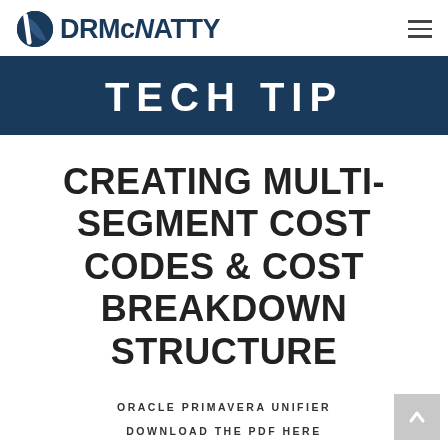DRMcNATTY
TECH TIP
CREATING MULTI-SEGMENT COST CODES & COST BREAKDOWN STRUCTURE
ORACLE PRIMAVERA UNIFIER
DOWNLOAD THE PDF HERE